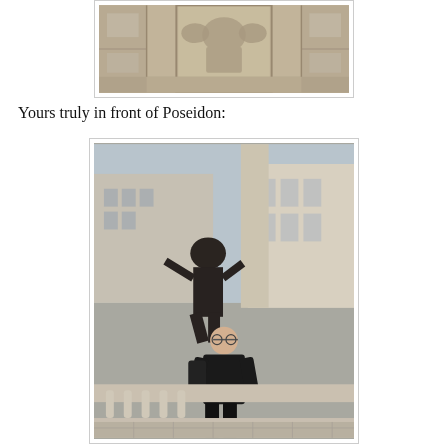[Figure (photo): Close-up photo of a stone architectural relief or sculpture on a building facade, showing detailed carved stonework with decorative elements]
Yours truly in front of Poseidon:
[Figure (photo): A person in black clothing standing in front of a Poseidon statue on a stone balustrade, with city buildings visible in the background]